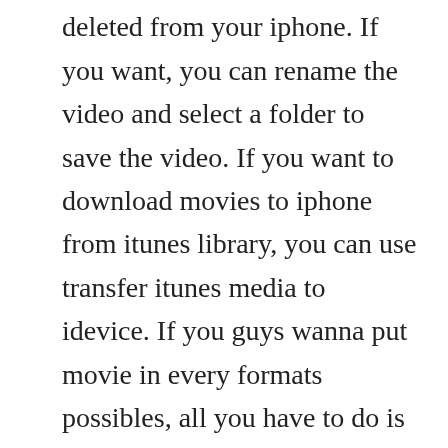previously purchased and then deleted from your iphone. If you want, you can rename the video and select a folder to save the video. If you want to download movies to iphone from itunes library, you can use transfer itunes media to idevice. If you guys wanna put movie in every formats possibles, all you have to do is to download a app like oplayer or avplayer, you transfer the files through itunes, this is it it supports. This application comes with a file manager and file viewer which helps in managing downloaded videos.